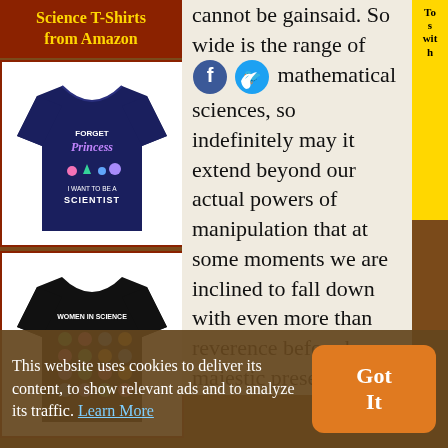Science T-Shirts from Amazon
[Figure (illustration): Navy blue t-shirt with text FORGET Princess I WANT TO BE A SCIENTIST and science-themed graphics]
[Figure (illustration): Black t-shirt with WOMEN IN SCIENCE text and icons of famous women scientists]
cannot be gainsaid. So wide is the range of mathematical sciences, so indefinitely may it extend beyond our actual powers of manipulation that at some moments we are inclined to fall down with even more than reverence before her majestic presence. But so strictly limited are her promises and powers, about so much that we might wish to know does she offer no information whatever, that at other moments we are fain to call her
This website uses cookies to deliver its content, to show relevant ads and to analyze its traffic. Learn More
Got It